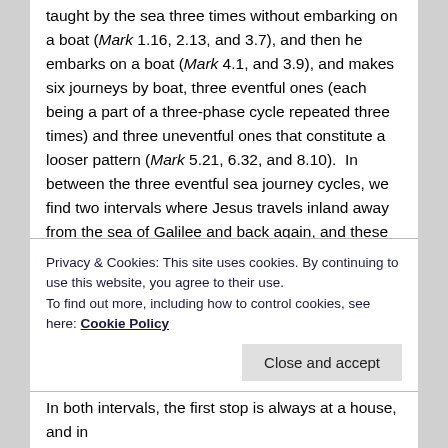taught by the sea three times without embarking on a boat (Mark 1.16, 2.13, and 3.7), and then he embarks on a boat (Mark 4.1, and 3.9), and makes six journeys by boat, three eventful ones (each being a part of a three-phase cycle repeated three times) and three uneventful ones that constitute a looser pattern (Mark 5.21, 6.32, and 8.10).  In between the three eventful sea journey cycles, we find two intervals where Jesus travels inland away from the sea of Galilee and back again, and these two journeys also share another triadic pattern: three land journeys in chiastic arrangement.  The first one, from the shore to the house of Jairus (Mark 5.22), then another from the house of Jairus to the hometown of Jesus (Mark 6.1), and finally from the hometown of Jesus to circulating around the towns (Mark 6.6), thus completing "Interval 1".
Privacy & Cookies: This site uses cookies. By continuing to use this website, you agree to their use. To find out more, including how to control cookies, see here: Cookie Policy
In both intervals, the first stop is always at a house, and in